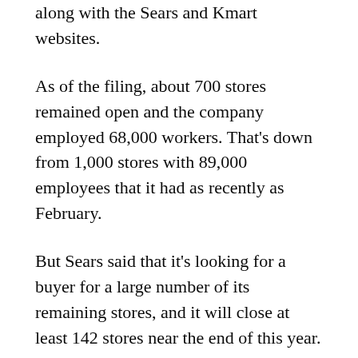along with the Sears and Kmart websites.
As of the filing, about 700 stores remained open and the company employed 68,000 workers. That's down from 1,000 stores with 89,000 employees that it had as recently as February.
But Sears said that it's looking for a buyer for a large number of its remaining stores, and it will close at least 142 stores near the end of this year. That's in addition to the 46 store closings already planned for next month. The company did not rule out additional store closings as the bankruptcy process proceeds.
Eddie Lampert, the company's chairman and largest shareholder, gave up the title of CEO. The company will now be run by three of the company's top